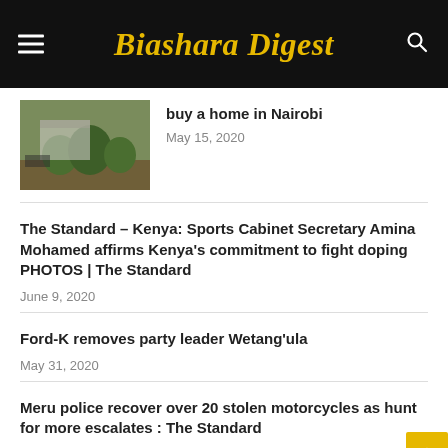Biashara Digest
buy a home in Nairobi
May 15, 2020
The Standard – Kenya: Sports Cabinet Secretary Amina Mohamed affirms Kenya's commitment to fight doping PHOTOS | The Standard
June 9, 2020
Ford-K removes party leader Wetang'ula
May 31, 2020
Meru police recover over 20 stolen motorcycles as hunt for more escalates : The Standard
May 10, 2020